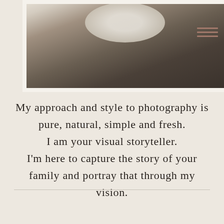[Figure (photo): Top portion of a photograph showing a baby's hands near a white enamel plate/bowl with colorful fruit, set on a dark wooden surface. The image is partially cropped with a white frame border visible on the left and bottom.]
My approach and style to photography is pure, natural, simple and fresh. I am your visual storyteller. I'm here to capture the story of your family and portray that through my vision.